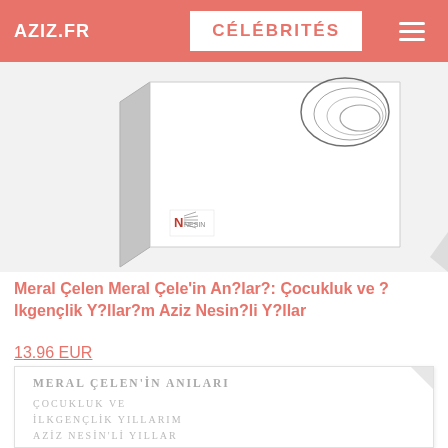AZIZ.FR | CÉLÉBRITÉS
[Figure (photo): A book displayed at an angle showing its cover and spine. The book appears to be 'Meral Çelen'in Anıları' published by Nesin Vacfı. The cover is white/light colored with a black graphic element. A second image below shows the interior title page of the same book.]
Meral Çelen Meral Çele'in An?lar?: Çocukluk ve ? lkgençlik Y?llar?m Aziz Nesin?li Y?llar
13.96 EUR